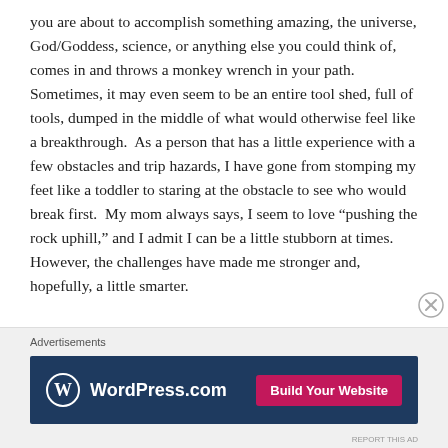you are about to accomplish something amazing, the universe, God/Goddess, science, or anything else you could think of, comes in and throws a monkey wrench in your path.  Sometimes, it may even seem to be an entire tool shed, full of tools, dumped in the middle of what would otherwise feel like a breakthrough.  As a person that has a little experience with a few obstacles and trip hazards, I have gone from stomping my feet like a toddler to staring at the obstacle to see who would break first.  My mom always says, I seem to love “pushing the rock uphill,” and I admit I can be a little stubborn at times.  However, the challenges have made me stronger and, hopefully, a little smarter.
Advertisements
[Figure (other): WordPress.com advertisement banner with logo on dark navy background and pink 'Build Your Website' button]